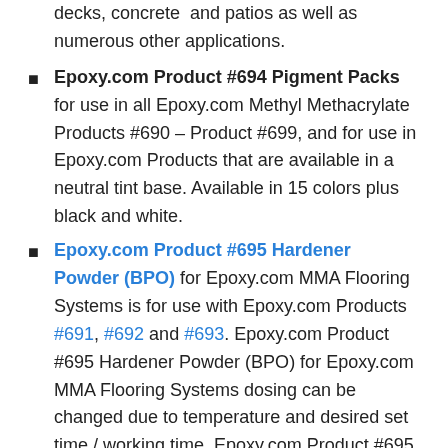decks, concrete  and patios as well as numerous other applications.
Epoxy.com Product #694 Pigment Packs for use in all Epoxy.com Methyl Methacrylate Products #690 – Product #699, and for use in Epoxy.com Products that are available in a neutral tint base. Available in 15 colors plus black and white.
Epoxy.com Product #695 Hardener Powder (BPO) for Epoxy.com MMA Flooring Systems is for use with Epoxy.com Products #691, #692 and #693. Epoxy.com Product #695 Hardener Powder (BPO) for Epoxy.com MMA Flooring Systems dosing can be changed due to temperature and desired set time / working time. Epoxy.com Product #695 must be well mixed with Epoxy.com MMA before adding any other aggregates and fillers.  After mixing the Epoxy.com Product #695